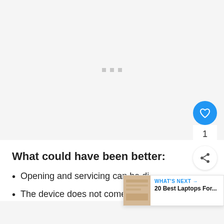[Figure (other): Loading placeholder area with three small grey dots in the center on a light grey background]
What could have been better:
Opening and servicing can be di...
The device does not come with a